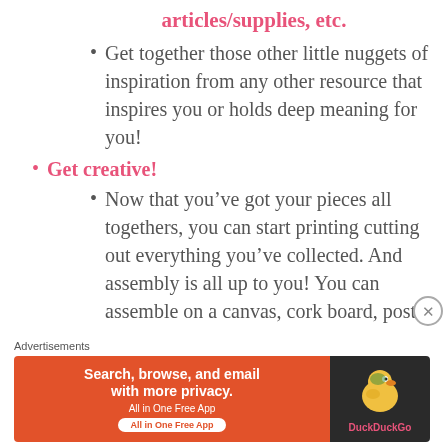articles/supplies, etc.
Get together those other little nuggets of inspiration from any other resource that inspires you or holds deep meaning for you!
Get creative!
Now that you’ve got your pieces all togethers, you can start printing cutting out everything you’ve collected. And assembly is all up to you! You can assemble on a canvas, cork board, poster board, right on
Advertisements
[Figure (screenshot): DuckDuckGo advertisement banner: orange left panel with text 'Search, browse, and email with more privacy. All in One Free App' and dark right panel with DuckDuckGo logo]